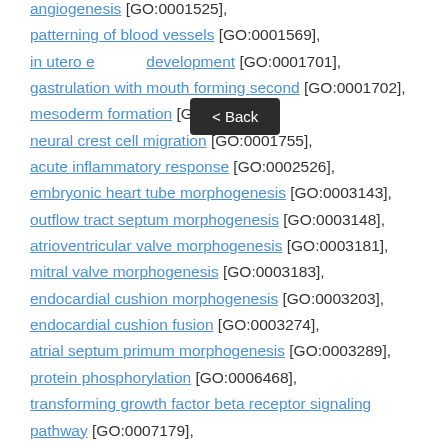angiogenesis [GO:0001525], patterning of blood vessels [GO:0001569], in utero embryonic development [GO:0001701], gastrulation with mouth forming second [GO:0001702], mesoderm formation [GO:0001707], neural crest cell migration [GO:0001755], acute inflammatory response [GO:0002526], embryonic heart tube morphogenesis [GO:0003143], outflow tract septum morphogenesis [GO:0003148], atrioventricular valve morphogenesis [GO:0003181], mitral valve morphogenesis [GO:0003183], endocardial cushion morphogenesis [GO:0003203], endocardial cushion fusion [GO:0003274], atrial septum primum morphogenesis [GO:0003289], protein phosphorylation [GO:0006468], transforming growth factor beta receptor signaling pathway [GO:0007179], germ cell development [GO:0007281], determination of left/right symmetry [GO:0007368],